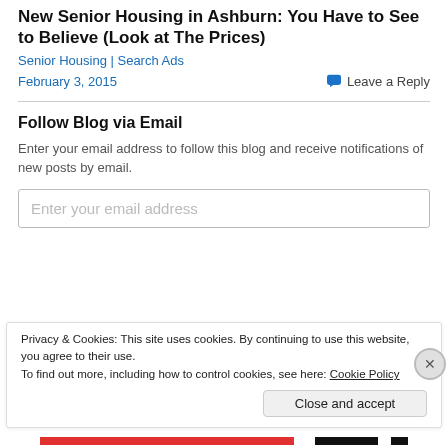New Senior Housing in Ashburn: You Have to See to Believe (Look at The Prices)
Senior Housing | Search Ads
February 3, 2015
Leave a Reply
Follow Blog via Email
Enter your email address to follow this blog and receive notifications of new posts by email.
Enter your email address
Privacy & Cookies: This site uses cookies. By continuing to use this website, you agree to their use.
To find out more, including how to control cookies, see here: Cookie Policy
Close and accept